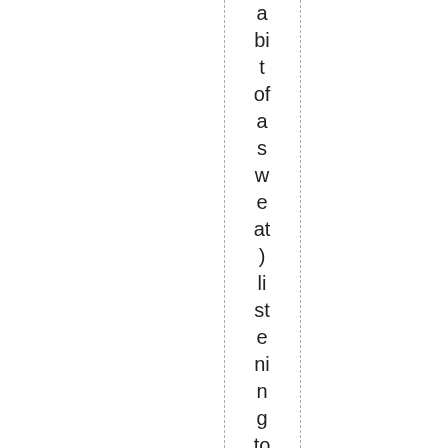a bi t of a s w e at ) li st e ni n g to m y M P 3 pl a y